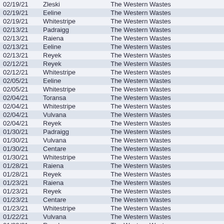| Date | Name | Location |
| --- | --- | --- |
| 02/19/21 | Zleski | The Western Wastes |
| 02/19/21 | Eeline | The Western Wastes |
| 02/19/21 | Whitestripe | The Western Wastes |
| 02/13/21 | Padraigg | The Western Wastes |
| 02/13/21 | Raiena | The Western Wastes |
| 02/13/21 | Eeline | The Western Wastes |
| 02/13/21 | Reyek | The Western Wastes |
| 02/12/21 | Reyek | The Western Wastes |
| 02/12/21 | Whitestripe | The Western Wastes |
| 02/05/21 | Eeline | The Western Wastes |
| 02/05/21 | Whitestripe | The Western Wastes |
| 02/04/21 | Toransa | The Western Wastes |
| 02/04/21 | Whitestripe | The Western Wastes |
| 02/04/21 | Vulvana | The Western Wastes |
| 02/04/21 | Reyek | The Western Wastes |
| 01/30/21 | Padraigg | The Western Wastes |
| 01/30/21 | Vulvana | The Western Wastes |
| 01/30/21 | Centare | The Western Wastes |
| 01/30/21 | Whitestripe | The Western Wastes |
| 01/28/21 | Raiena | The Western Wastes |
| 01/28/21 | Reyek | The Western Wastes |
| 01/23/21 | Raiena | The Western Wastes |
| 01/23/21 | Reyek | The Western Wastes |
| 01/23/21 | Centare | The Western Wastes |
| 01/23/21 | Whitestripe | The Western Wastes |
| 01/22/21 | Vulvana | The Western Wastes |
| 01/22/21 | Reyek | The Western Wastes |